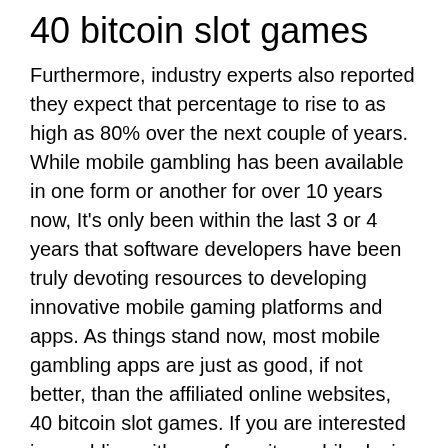40 bitcoin slot games
Furthermore, industry experts also reported they expect that percentage to rise to as high as 80% over the next couple of years. While mobile gambling has been available in one form or another for over 10 years now, It's only been within the last 3 or 4 years that software developers have been truly devoting resources to developing innovative mobile gaming platforms and apps. As things stand now, most mobile gambling apps are just as good, if not better, than the affiliated online websites, 40 bitcoin slot games. If you are interested in gambling with your favorite mobile device (tablet, smartphone) with real cash from anywhere at any time, choosing the right mobile app could be a tall task. Real Casino Slots v5, 40 bitcoin slot games. Many of them will be based on classic brick and mortar slots. Then they will roll out video only slots with lots of mini-games. The return